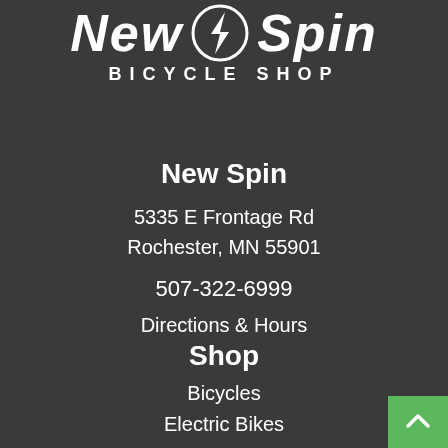[Figure (logo): New Spin Bicycle Shop logo — italic bold white text 'New Spin' with a lightning bolt circle icon in the middle, and 'BICYCLE SHOP' in spaced capitals below]
New Spin
5335 E Frontage Rd
Rochester, MN 55901
507-322-6999
Directions & Hours
Shop
Bicycles
Electric Bikes